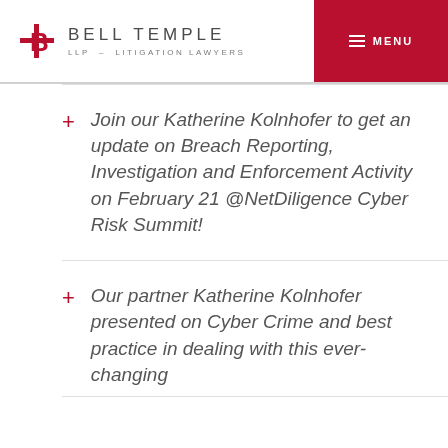Bell Temple LLP - Litigation Lawyers
Join our Katherine Kolnhofer to get an update on Breach Reporting, Investigation and Enforcement Activity on February 21 @NetDiligence Cyber Risk Summit!
Our partner Katherine Kolnhofer presented on Cyber Crime and best practice in dealing with this ever-changing